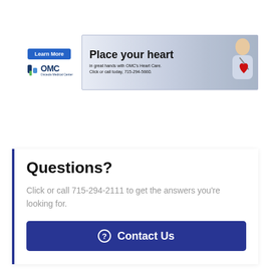[Figure (infographic): OMC (Osceola Medical Center) advertisement banner with 'Learn More' button, OMC logo on left, and 'Place your heart in great hands with OMC's Heart Care. Click or call today, 715-294-5660.' text with doctor image on right]
Questions?
Click or call 715-294-2111 to get the answers you're looking for.
Contact Us